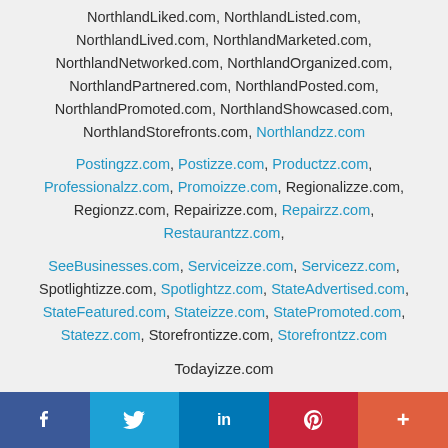NorthlandLiked.com, NorthlandListed.com, NorthlandLived.com, NorthlandMarketed.com, NorthlandNetworked.com, NorthlandOrganized.com, NorthlandPartnered.com, NorthlandPosted.com, NorthlandPromoted.com, NorthlandShowcased.com, NorthlandStorefronts.com, Northlandzz.com
Postingzz.com, Postizze.com, Productzz.com, Professionalzz.com, Promoizze.com, Regionalizze.com, Regionzz.com, Repairizze.com, Repairzz.com, Restaurantzz.com,
SeeBusinesses.com, Serviceizze.com, Servicezz.com, Spotlightizze.com, Spotlightzz.com, StateAdvertised.com, StateFeatured.com, Stateizze.com, StatePromoted.com, Statezz.com, Storefrontizze.com, Storefrontzz.com
Todayizze.com
[Figure (other): Social media sharing bar with Facebook, Twitter, LinkedIn, Pinterest, and More buttons]